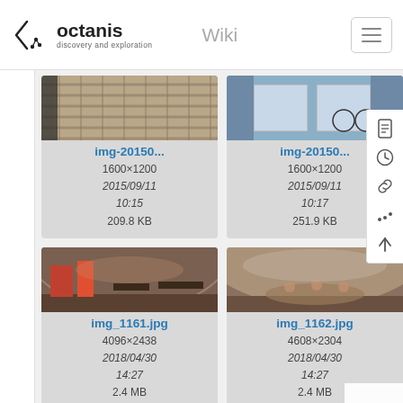octanis discovery and exploration | Wiki
[Figure (screenshot): Wiki file gallery showing image thumbnails with metadata. First row: img-20150... (1600×1200, 2015/09/11 10:15, 209.8 KB), img-20150... (1600×1200, 2015/09/11 10:17, 251.9 KB), img_0... (partially visible, 1536..., 2016..., 19..., 608...). Second row: img_1161.jpg (4096×2438, 2018/04/30 14:27, 2.4 MB), img_1162.jpg (4608×2304, 2018/04/30 14:27, 2.4 MB), img_2... (partially visible, 3264..., 2015..., 15..., 1.3...).]